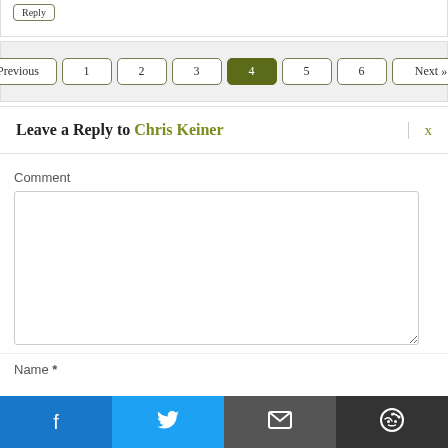Reply
« Previous  1  2  3  4  5  6  Next » >
Leave a Reply to Chris Keiner
Comment
Name *
[Figure (screenshot): Social share bar with Facebook, Twitter, Email, and Reddit buttons]